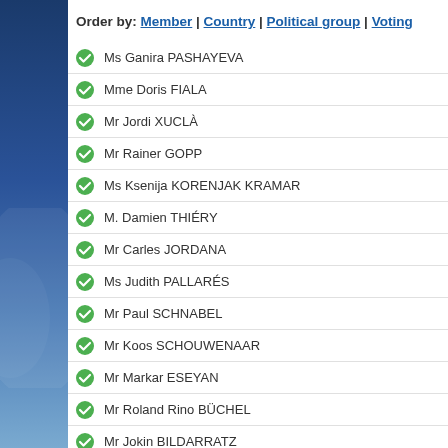Order by: Member | Country | Political group | Voting
Ms Ganira PASHAYEVA
Mme Doris FIALA
Mr Jordi XUCLÀ
Mr Rainer GOPP
Ms Ksenija KORENJAK KRAMAR
M. Damien THIÉRY
Mr Carles JORDANA
Ms Judith PALLARÉS
Mr Paul SCHNABEL
Mr Koos SCHOUWENAAR
Mr Markar ESEYAN
Mr Roland Rino BÜCHEL
Mr Jokin BILDARRATZ
Ms Alina ZOTEA
Mr Alfred HEER
Mr Ekmeleddin Mehmet İHSANOĞLU